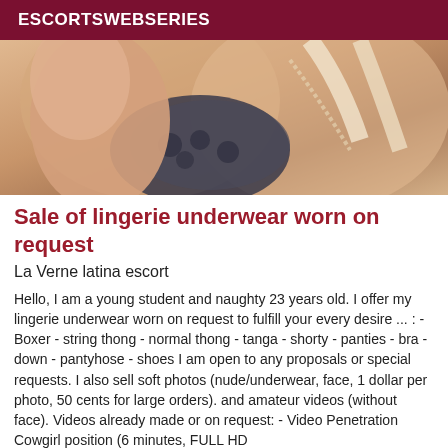ESCORTSWEBSERIES
[Figure (photo): Close-up photo of a person wearing lingerie underwear]
Sale of lingerie underwear worn on request
La Verne latina escort
Hello, I am a young student and naughty 23 years old. I offer my lingerie underwear worn on request to fulfill your every desire ... : - Boxer - string thong - normal thong - tanga - shorty - panties - bra - down - pantyhose - shoes I am open to any proposals or special requests. I also sell soft photos (nude/underwear, face, 1 dollar per photo, 50 cents for large orders). and amateur videos (without face). Videos already made or on request: - Video Penetration Cowgirl position (6 minutes, FULL HD